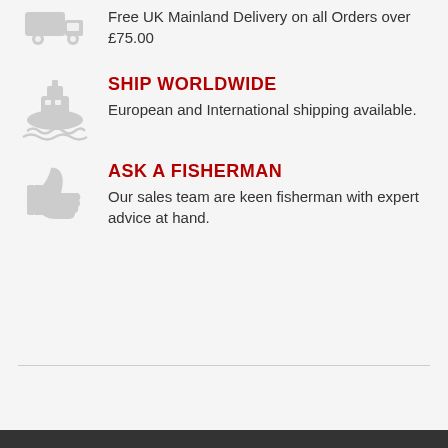[Figure (illustration): Grey truck delivery icon (partially visible at top)]
Free UK Mainland Delivery on all Orders over £75.00
[Figure (illustration): Grey ship/ferry icon for worldwide shipping]
SHIP WORLDWIDE
European and International shipping available.
[Figure (illustration): Grey thumbs up icon for Ask a Fisherman]
ASK A FISHERMAN
Our sales team are keen fisherman with expert advice at hand.